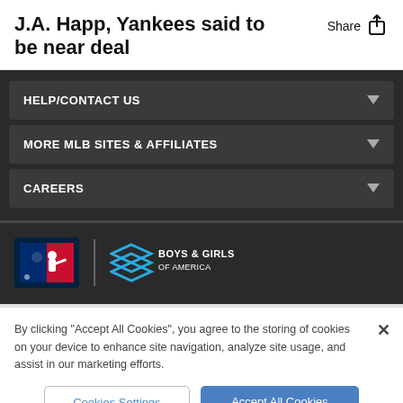J.A. Happ, Yankees said to be near deal
HELP/CONTACT US
MORE MLB SITES & AFFILIATES
CAREERS
[Figure (logo): MLB logo and Boys & Girls Clubs of America logo side by side]
By clicking "Accept All Cookies", you agree to the storing of cookies on your device to enhance site navigation, analyze site usage, and assist in our marketing efforts.
Cookies Settings | Accept All Cookies